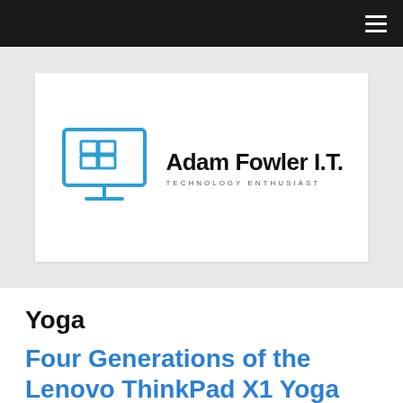Navigation bar with hamburger menu
[Figure (logo): Adam Fowler I.T. logo: blue monitor/screen icon on left with Windows-style grid, text 'Adam Fowler I.T.' in bold black and 'TECHNOLOGY ENTHUSIAST' in small spaced caps below]
Yoga
Four Generations of the Lenovo ThinkPad X1 Yoga